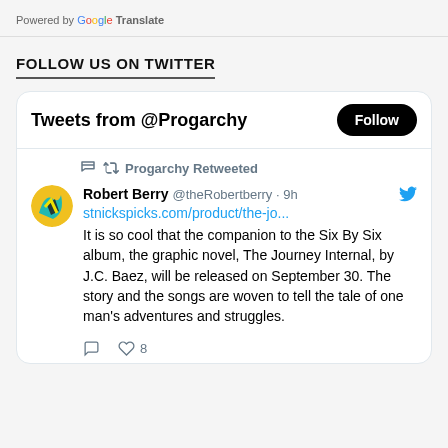Powered by Google Translate
FOLLOW US ON TWITTER
[Figure (screenshot): Twitter widget showing Tweets from @Progarchy with a Follow button, and a Retweeted post by Robert Berry @theRobertberry posted 9h ago with a link stnickspicks.com/product/the-jo... and text about the Journey Internal graphic novel companion to the Six By Six album by J.C. Baez releasing September 30, with 8 likes shown.]